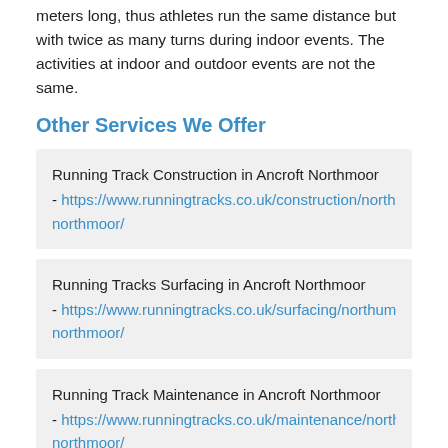meters long, thus athletes run the same distance but with twice as many turns during indoor events. The activities at indoor and outdoor events are not the same.
Other Services We Offer
Running Track Construction in Ancroft Northmoor - https://www.runningtracks.co.uk/construction/northumberland/ancroft-northmoor/
Running Tracks Surfacing in Ancroft Northmoor - https://www.runningtracks.co.uk/surfacing/northumberland/ancroft-northmoor/
Running Track Maintenance in Ancroft Northmoor - https://www.runningtracks.co.uk/maintenance/northumberland/ancroft-northmoor/
Running Tracks Repair in Ancroft Northmoor - https://www.runningtracks.co.uk/repair/northumberland/ancroft-northmoor/